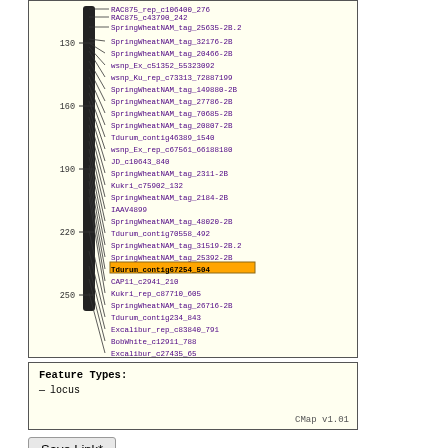[Figure (other): Genetic linkage map visualization showing chromosome markers for wheat. A vertical chromosome ideogram (around position 290-330 on y-axis cM scale 130-250) with marker names listed to the right connected by lines. Marker 'Tdurum_contig67254_504' is highlighted in yellow/orange. Y-axis shows centimorgan positions from ~130 to ~250.]
Feature Types:
— locus
CMap v1.01
Save Link*
*Bookmarks for this page will fail after this session is assigned by the...